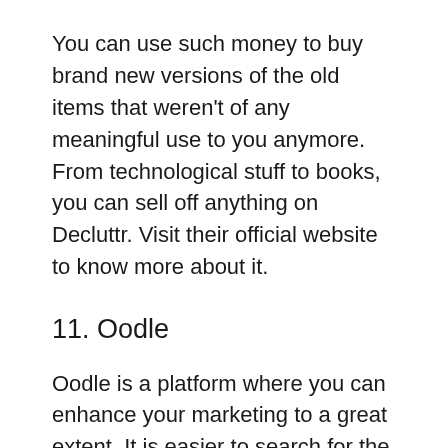You can use such money to buy brand new versions of the old items that weren't of any meaningful use to you anymore. From technological stuff to books, you can sell off anything on Decluttr. Visit their official website to know more about it.
11. Oodle
Oodle is a platform where you can enhance your marketing to a great extent. It is easier to search for the other sellers in your locality and see what their content consists of in terms of advertisements. There have been